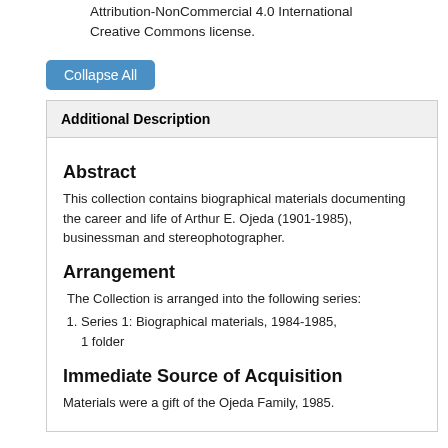Attribution-NonCommercial 4.0 International Creative Commons license.
[Figure (screenshot): Blue 'Collapse All' button]
Additional Description
Abstract
This collection contains biographical materials documenting the career and life of Arthur E. Ojeda (1901-1985), businessman and stereophotographer.
Arrangement
The Collection is arranged into the following series:
Series 1: Biographical materials, 1984-1985, 1 folder
Immediate Source of Acquisition
Materials were a gift of the Ojeda Family, 1985.